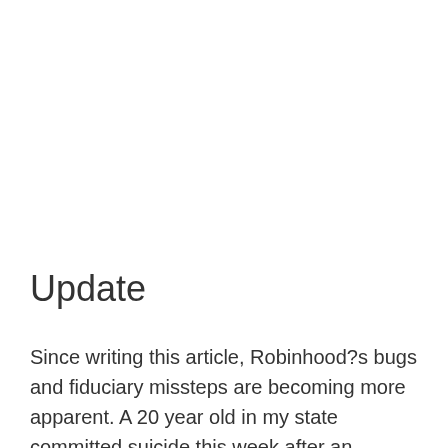Update
Since writing this article, Robinhood?s bugs and fiduciary missteps are becoming more apparent. A 20 year old in my state committed suicide this week after an erroneous display of a $700,000 debt in his Robinhood account. They, of course, did not have a support line robust enough to